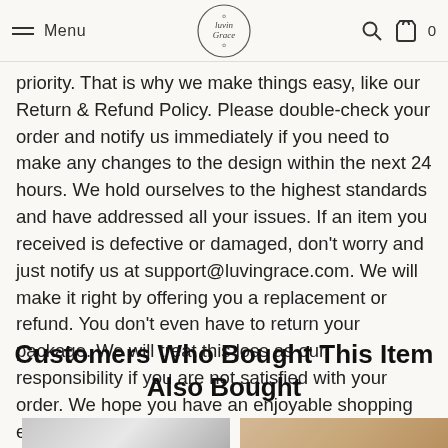Menu | LuvinGrace logo | Search | Bag 0
priority. That is why we make things easy, like our Return & Refund Policy. Please double-check your order and notify us immediately if you need to make any changes to the design within the next 24 hours. We hold ourselves to the highest standards and have addressed all your issues. If an item you received is defective or damaged, don't worry and just notify us at support@luvingrace.com. We will make it right by offering you a replacement or refund. You don't even have to return your package. We will treat this loss as our responsibility if you are not satisfied with your order. We hope you have an enjoyable shopping experience at our store.
Customers Who Bought This Item Also Bought
[Figure (photo): Two product thumbnail images partially visible at bottom of page]